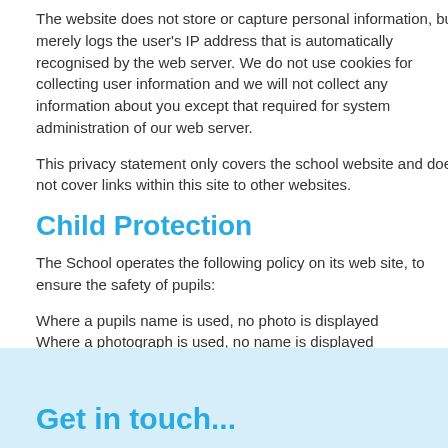The website does not store or capture personal information, but merely logs the user's IP address that is automatically recognised by the web server. We do not use cookies for collecting user information and we will not collect any information about you except that required for system administration of our web server.
This privacy statement only covers the school website and does not cover links within this site to other websites.
Child Protection
The School operates the following policy on its web site, to ensure the safety of pupils:
Where a pupils name is used, no photo is displayed
Where a photograph is used, no name is displayed
No inappropriate images are used.
Permission is gained from parents where images are used.
We would also like to offer the following guidance to parents and children:
http://www.ceop.gov.uk/index.asp
http://www.thinkuknow.co.uk/
http://www.getsafeonline.org
Get in touch...